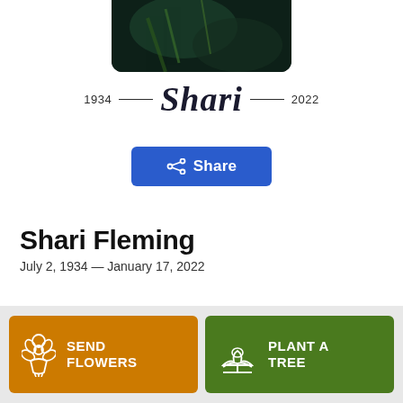[Figure (photo): Dark photo of green leaves/foliage with dark background, partially visible at top of page]
1934 — Shari — 2022
Share
Shari Fleming
July 2, 1934 — January 17, 2022
SEND FLOWERS
PLANT A TREE